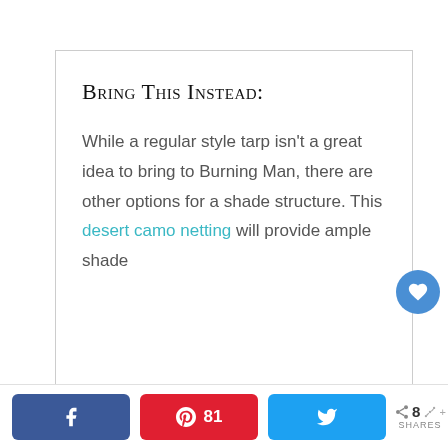Bring This Instead:
While a regular style tarp isn't a great idea to bring to Burning Man, there are other options for a shade structure. This desert camo netting will provide ample shade
Facebook share | Pinterest 81 | Twitter share | 8 SHARES